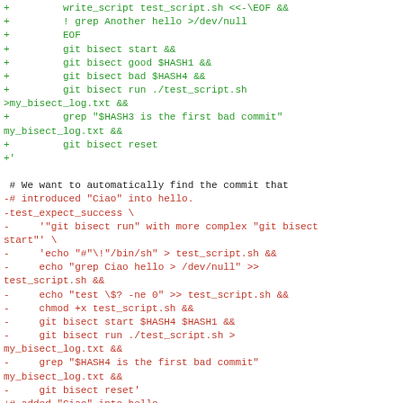Code diff showing git bisect test script modifications. Green lines (additions) show write_script, grep, git bisect start/good/bad/run/reset commands. Black lines show context. Red lines (deletions) show replaced test_expect_success block with echo, chmod, git bisect start/run/reset commands.